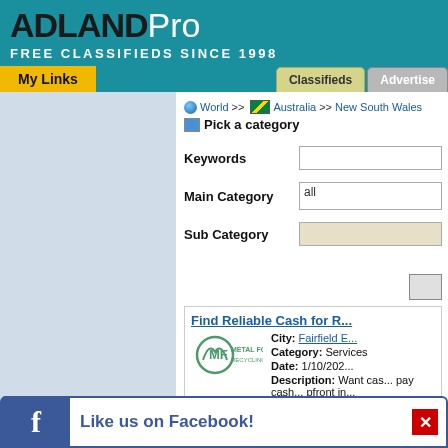ADLANDPro
FREE CLASSIFIEDS SINCE 1998
My Links
Classifieds | Advertise
World >> Australia >> New South Wales
Pick a category
Keywords
Main Category: all
Sub Category
Find Reliable Cash for ...
City: Fairfield E...
Category: Services
Date: 1/10/202...
Description: Want cas... pay cash... pfront in...
Like us on Facebook!